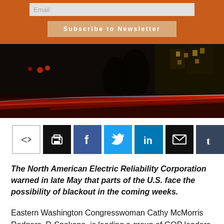Email | Subscribe to Newsletter
[Figure (photo): Night-time street scene with red light trails from passing vehicles, dark buildings visible in background]
[Figure (infographic): Social sharing buttons: share, print, Facebook, Twitter, LinkedIn, email, Tumblr]
The North American Electric Reliability Corporation warned in late May that parts of the U.S. face the possibility of blackout in the coming weeks.
Eastern Washington Congresswoman Cathy McMorris Rodgers, R-Spokane, is leading a group of GOP leaders